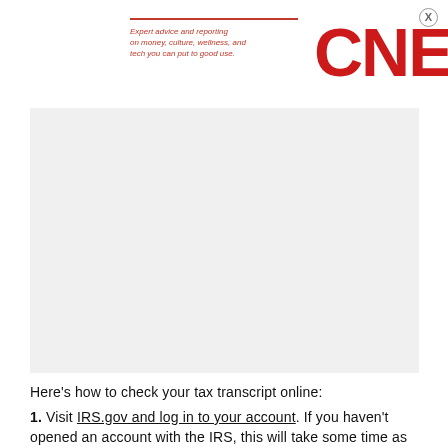Expert advice and reporting on money, culture, wellness, and tech you can put to good use. CNET
[Figure (other): Gray advertisement placeholder box]
Here's how to check your tax transcript online:
1. Visit IRS.gov and log in to your account. If you haven't opened an account with the IRS, this will take some time as you'll have to take multiple steps to